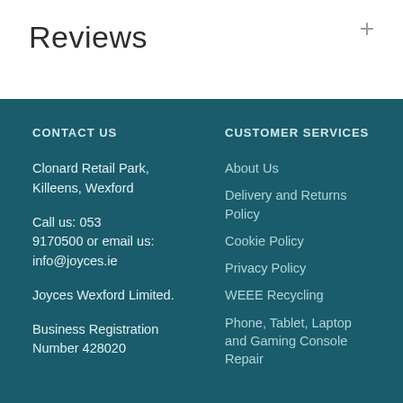Reviews
CONTACT US
Clonard Retail Park, Killeens, Wexford
Call us: 053 9170500 or email us: info@joyces.ie
Joyces Wexford Limited.
Business Registration Number 428020
CUSTOMER SERVICES
About Us
Delivery and Returns Policy
Cookie Policy
Privacy Policy
WEEE Recycling
Phone, Tablet, Laptop and Gaming Console Repair